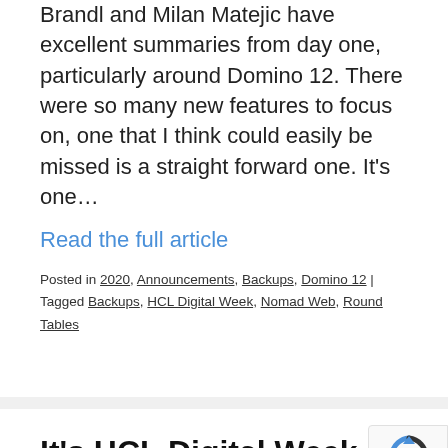Brandl and Milan Matejic have excellent summaries from day one, particularly around Domino 12. There were so many new features to focus on, one that I think could easily be missed is a straight forward one. It's one…
Read the full article
Posted in 2020, Announcements, Backups, Domino 12 | Tagged Backups, HCL Digital Week, Nomad Web, Round Tables
It's HCL Digital Week –